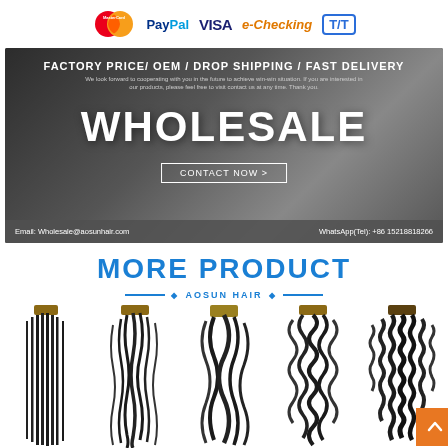[Figure (infographic): Payment method icons: MasterCard, PayPal, VISA, e-Checking, T/T]
[Figure (infographic): Wholesale banner with dark background showing handshake. Text: FACTORY PRICE/ OEM / DROP SHIPPING / FAST DELIVERY, WHOLESALE, CONTACT NOW >, Email: Wholesale@aosunhair.com, WhatsApp(Tel): +86 15218818266]
MORE PRODUCT
◆ AOSUN HAIR ◆
[Figure (photo): Five hair bundle products displayed in a row: straight hair, body wave, loose wave, deep wave/curly, and kinky curly hair bundles, all dark/black color]